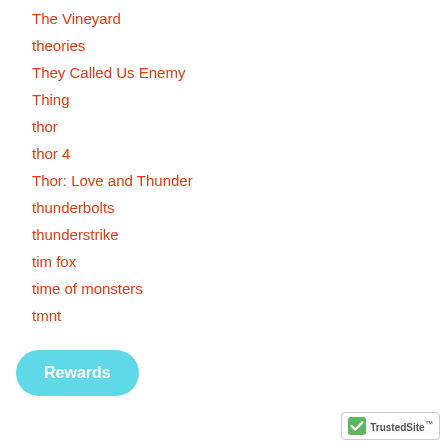The Vineyard
theories
They Called Us Enemy
Thing
thor
thor 4
Thor: Love and Thunder
thunderbolts
thunderstrike
tim fox
time of monsters
tmnt
Tom Hiddleston